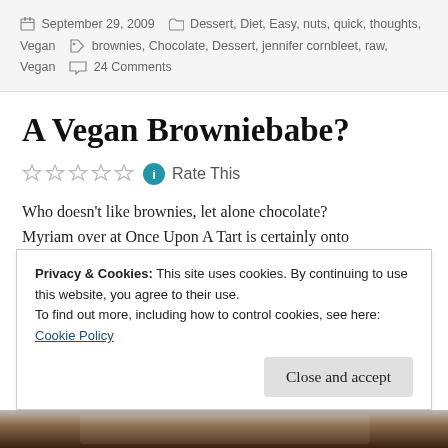September 29, 2009  Dessert, Diet, Easy, nuts, quick, thoughts, Vegan  brownies, Chocolate, Dessert, jennifer cornbleet, raw, Vegan  24 Comments
A Vegan Browniebabe?
Rate This
Who doesn't like brownies, let alone chocolate? Myriam over at Once Upon A Tart is certainly onto
Privacy & Cookies: This site uses cookies. By continuing to use this website, you agree to their use.
To find out more, including how to control cookies, see here: Cookie Policy
Close and accept